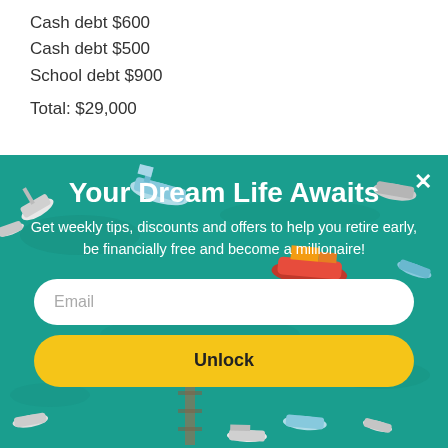Cash debt $600
Cash debt $500
School debt $900
Total: $29,000
[Figure (screenshot): Popup modal overlay with a teal ocean/boats aerial background. Contains title 'Your Dream Life Awaits', subtitle text 'Get weekly tips, discounts and offers to help you retire early, be financially free and become a millionaire!', an email input field, and an 'Unlock' button. A close (x) button appears in the top right corner.]